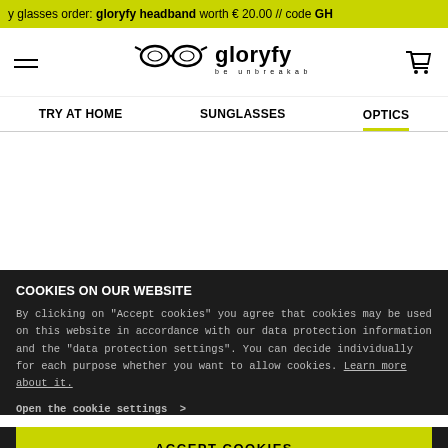y glasses order: gloryfy headband worth € 20.00 // code GH
[Figure (logo): Gloryfy logo with glasses icon and text 'be unbreakable']
TRY AT HOME   SUNGLASSES   OPTICS
COOKIES ON OUR WEBSITE
By clicking on "Accept cookies" you agree that cookies may be used on this website in accordance with our data protection information and the "data protection settings". You can decide individually for each purpose whether you want to allow cookies. Learn more about it.
Open the cookie settings >
ACCEPT COOKIES